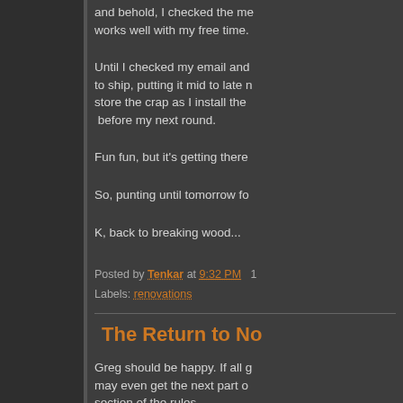and behold, I checked the me works well with my free time.
Until I checked my email and to ship, putting it mid to late n store the crap as I install the  before my next round.
Fun fun, but it's getting there
So, punting until tomorrow fo
K, back to breaking wood...
Posted by Tenkar at 9:32 PM  1
Labels: renovations
The Return to No
Greg should be happy. If all g may even get the next part o section of the rules.